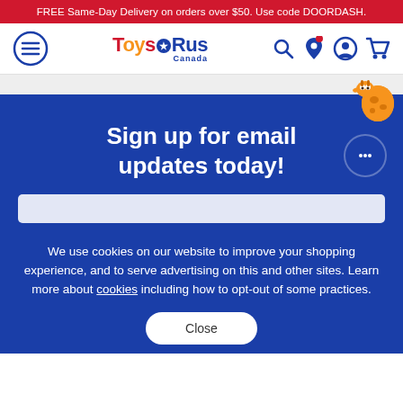FREE Same-Day Delivery on orders over $50. Use code DOORDASH.
[Figure (logo): Toys R Us Canada logo with hamburger menu icon on left and search, location, account, cart icons on right]
Sign up for email updates today!
We use cookies on our website to improve your shopping experience, and to serve advertising on this and other sites. Learn more about cookies including how to opt-out of some practices.
Close